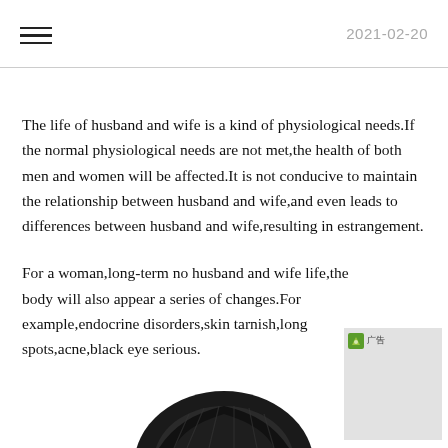2021-02-20
The life of husband and wife is a kind of physiological needs.If the normal physiological needs are not met,the health of both men and women will be affected.It is not conducive to maintain the relationship between husband and wife,and even leads to differences between husband and wife,resulting in estrangement.
For a woman,long-term no husband and wife life,the body will also appear a series of changes.For example,endocrine disorders,skin tarnish,long spots,acne,black eye serious.
[Figure (photo): Partial black and white photo of a person's head/hair visible at the bottom of the page]